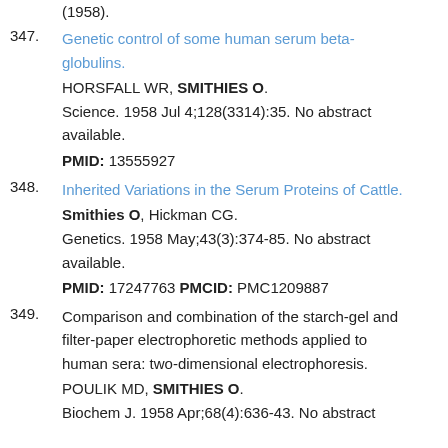(1958).
347. Genetic control of some human serum beta-globulins. HORSFALL WR, SMITHIES O. Science. 1958 Jul 4;128(3314):35. No abstract available. PMID: 13555927
348. Inherited Variations in the Serum Proteins of Cattle. Smithies O, Hickman CG. Genetics. 1958 May;43(3):374-85. No abstract available. PMID: 17247763 PMCID: PMC1209887
349. Comparison and combination of the starch-gel and filter-paper electrophoretic methods applied to human sera: two-dimensional electrophoresis. POULIK MD, SMITHIES O. Biochem J. 1958 Apr;68(4):636-43. No abstract